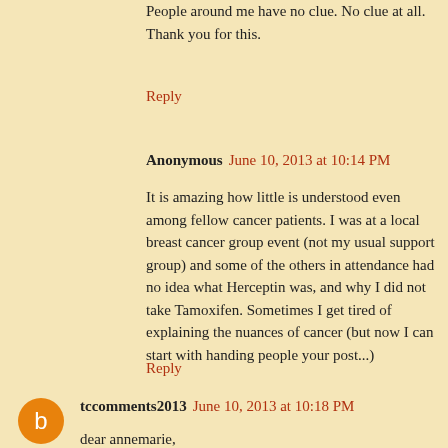People around me have no clue. No clue at all. Thank you for this.
Reply
Anonymous  June 10, 2013 at 10:14 PM
It is amazing how little is understood even among fellow cancer patients. I was at a local breast cancer group event (not my usual support group) and some of the others in attendance had no idea what Herceptin was, and why I did not take Tamoxifen. Sometimes I get tired of explaining the nuances of cancer (but now I can start with handing people your post...)
Reply
tccomments2013  June 10, 2013 at 10:18 PM
dear annemarie,
time and time again i find that hardly anyone understands that though i have achieved NED, i can never be deemed